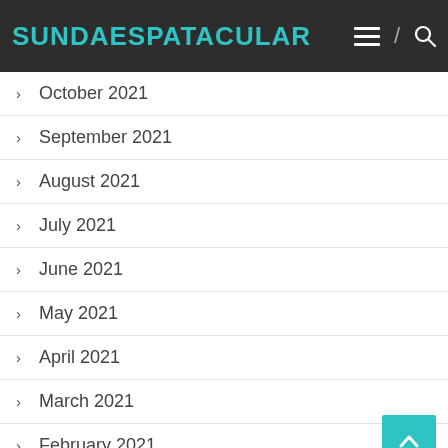SUNDAESPATACULAR
October 2021
September 2021
August 2021
July 2021
June 2021
May 2021
April 2021
March 2021
February 2021
January 2021
January 2018